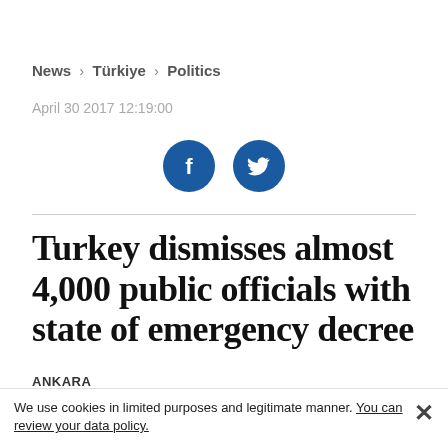News > Türkiye > Politics
April 30 2017 12:19:00
[Figure (other): Social media share icons: Facebook (blue circle with 'f' logo) and Twitter (blue circle with bird logo)]
Turkey dismisses almost 4,000 public officials with state of emergency decree
ANKARA
We use cookies in limited purposes and legitimate manner. You can review your data policy.